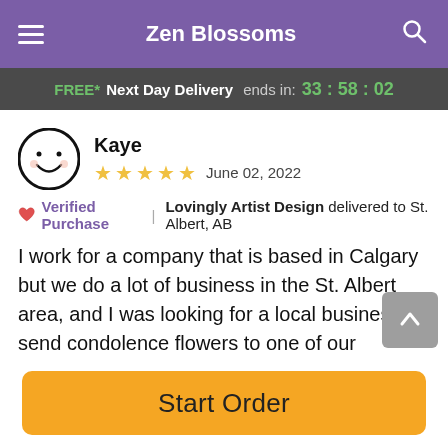Zen Blossoms
FREE* Next Day Delivery ends in: 33:58:02
Kaye
★★★★★ June 02, 2022
🧡 Verified Purchase | Lovingly Artist Design delivered to St. Albert, AB
I work for a company that is based in Calgary but we do a lot of business in the St. Albert area, and I was looking for a local business to send condolence flowers to one of our associates. I happened upon Zen Blossoms through a Google search and am very happy that I did! Nora created a lovely arrangement based on our discussion and it was delivered promptly the next day. She sent me a picture of
Start Order